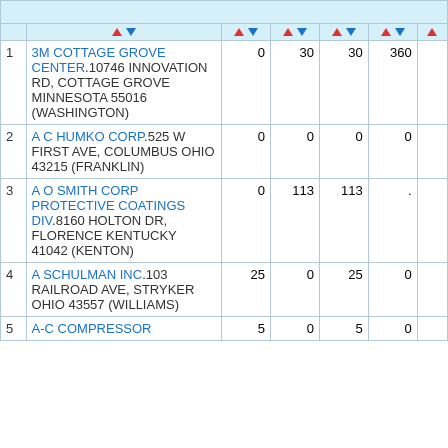| # | Facility / Address | Col1 | Col2 | Col3 | Col4 | Col5 |
| --- | --- | --- | --- | --- | --- | --- |
| 1 | 3M COTTAGE GROVE CENTER.10746 INNOVATION RD, COTTAGE GROVE MINNESOTA 55016 (WASHINGTON) | 0 | 30 | 30 | 360 |  |
| 2 | A C HUMKO CORP.525 W FIRST AVE, COLUMBUS OHIO 43215 (FRANKLIN) | 0 | 0 | 0 | 0 |  |
| 3 | A O SMITH CORP PROTECTIVE COATINGS DIV.8160 HOLTON DR, FLORENCE KENTUCKY 41042 (KENTON) | 0 | 113 | 113 | . |  |
| 4 | A SCHULMAN INC.103 RAILROAD AVE, STRYKER OHIO 43557 (WILLIAMS) | 25 | 0 | 25 | 0 |  |
| 5 | A-C COMPRESSOR | 5 | 0 | 5 | 0 |  |